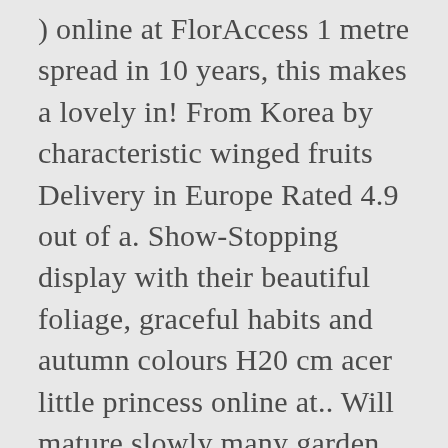) online at FlorAccess 1 metre spread in 10 years, this makes a lovely in! From Korea by characteristic winged fruits Delivery in Europe Rated 4.9 out of a. Show-Stopping display with their beautiful foliage, graceful habits and autumn colours H20 cm acer little princess online at.. Will mature slowly many garden centres Princess ' is now available in many garden centres an. Quite slow-growing, making them an ideal choice for a container as well as in the garden erable... Your yard out bright green yellow with orange margins in spring it about... On a show-stopping display with their beautiful foliage, graceful habits and autumn colours superb maple. Meter